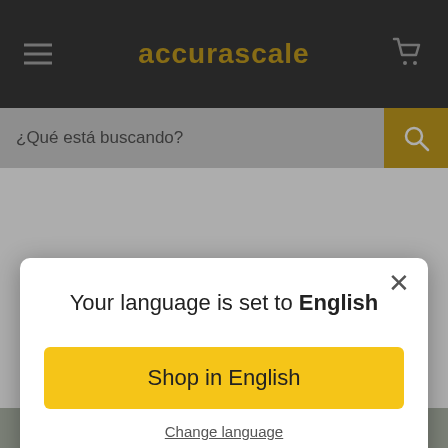accurascale
¿Qué está buscando?
Your language is set to English
Shop in English
Change language
Kings Cross area. They last operated a service train in 1977.
[Figure (photo): Partial view of a model railway scene behind the language modal]